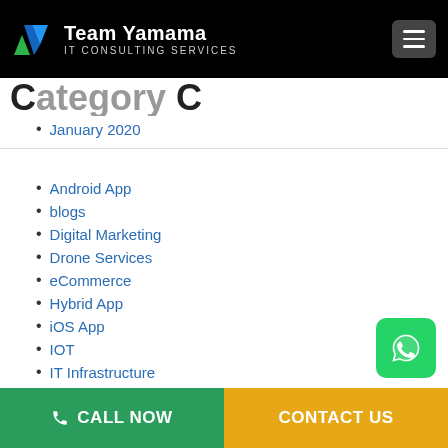Team Yamama IT CONSULTING SERVICES
January 2020
Android App
blogs
Digital Marketing
Drone Services
eCommerce
Hybrid App
iOS App
IOT
IT Infrastructure
Mobile App
CALL NOW | CONTACT US